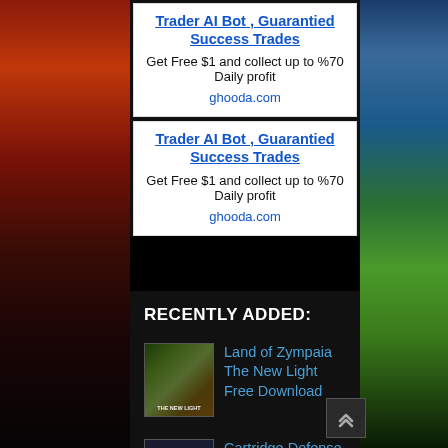[Figure (illustration): Fantasy and adventure scenic background images on left and right sides of page]
Trader AI Bot , Guarantied Success Trades
Get Free $1 and collect up to %70 Daily profit
ghooda.com
Trader AI Bot , Guarantied Success Trades
Get Free $1 and collect up to %70 Daily profit
ghooda.com
RECENTLY ADDED:
[Figure (illustration): Thumbnail for Land of Zympaia The New Light game]
Land of Zympaia The New Light Free Download
[Figure (illustration): Thumbnail for Cartridge Defense game]
Cartridge Defense Free Download